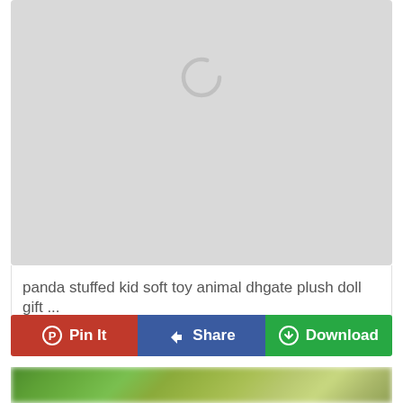[Figure (screenshot): Gray placeholder image area with a circular loading spinner (gray ring, partial) centered near the top]
panda stuffed kid soft toy animal dhgate plush doll gift ...
Pin It | Share | Download
[Figure (photo): Partial view of a blurred green outdoor/nature photo at the bottom of the page]